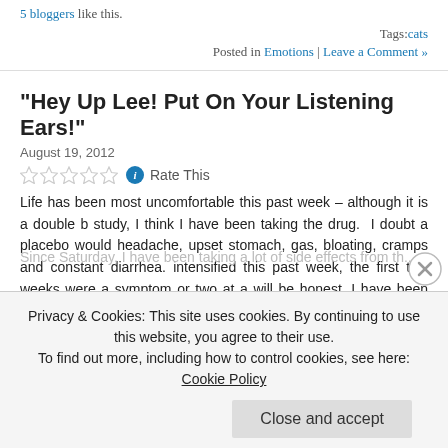5 bloggers like this.
Tags:cats
Posted in Emotions | Leave a Comment »
“Hey Up Lee! Put On Your Listening Ears!”
August 19, 2012
Rate This
Life has been most uncomfortable this past week – although it is a double b study, I think I have been taking the drug. I doubt a placebo would headache, upset stomach, gas, bloating, cramps and constant diarrhea. intensified this past week, the first two weeks were a symptom or two at a will be honest, I have been miserable and drag my ass tired because I ha afraid to go to sleep and then have an accident in the bed. Most of the ti been right after dinner when everything starts, during the day it has be except for headache and gas. Enough of that!
Privacy & Cookies: This site uses cookies. By continuing to use this website, you agree to their use.
To find out more, including how to control cookies, see here: Cookie Policy
Close and accept